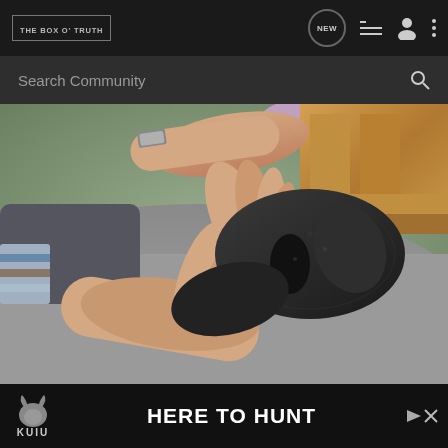THE BOX O TRUTH
Search Community
[Figure (photo): Hands holding and manipulating a dark black foam pipe insulation piece, with wooden blocks in the upper right background and a gray concrete or stone surface. A metal watch is visible on one wrist.]
KUIU HERE TO HUNT